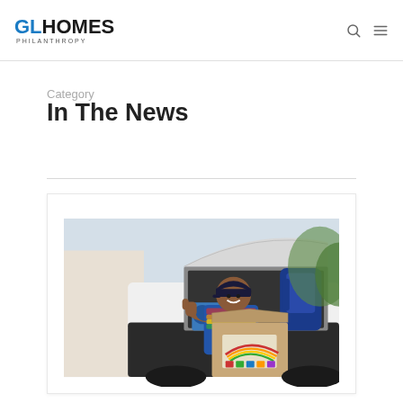GL HOMES PHILANTHROPY
Category
In The News
[Figure (photo): Woman smiling and giving thumbs up while holding a cardboard box filled with school supplies and a rainbow decoration, standing in front of an open SUV trunk packed with backpacks and supplies.]